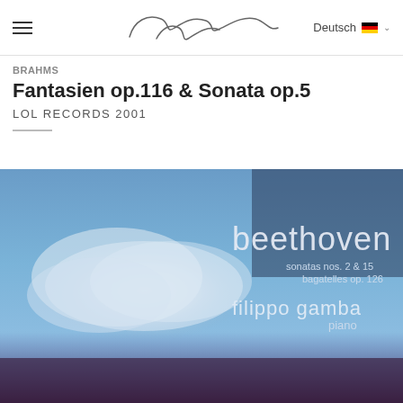Filippo Gamba — Deutsch
BRAHMS
Fantasien op.116 & Sonata op.5
LOL RECORDS 2001
[Figure (photo): Album cover for beethoven sonatas nos. 2 & 15, bagatelles op. 126, played by filippo gamba piano. Blue-toned sky with clouds.]